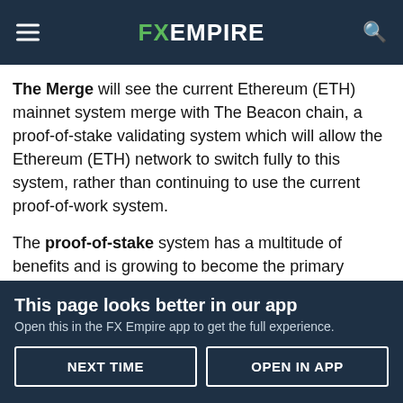FX EMPIRE
The Merge will see the current Ethereum (ETH) mainnet system merge with The Beacon chain, a proof-of-stake validating system which will allow the Ethereum (ETH) network to switch fully to this system, rather than continuing to use the current proof-of-work system.
The proof-of-stake system has a multitude of benefits and is growing to become the primary validation system used across the blockchain networks. In essence, proof-of-stake reduces the number of machines used in validating by only including
This page looks better in our app
Open this in the FX Empire app to get the full experience.
NEXT TIME
OPEN IN APP